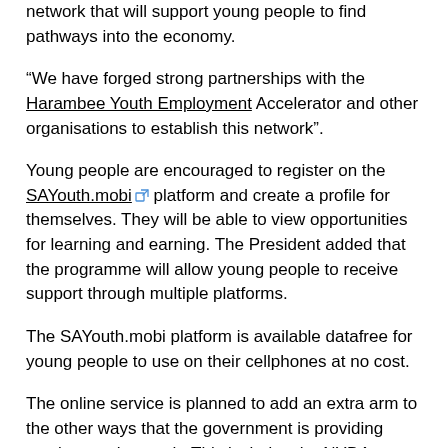network that will support young people to find pathways into the economy.
“We have forged strong partnerships with the Harambee Youth Employment Accelerator and other organisations to establish this network”.
Young people are encouraged to register on the SAYouth.mobi platform and create a profile for themselves. They will be able to view opportunities for learning and earning. The President added that the programme will allow young people to receive support through multiple platforms.
The SAYouth.mobi platform is available datafree for young people to use on their cellphones at no cost.
The online service is planned to add an extra arm to the other ways that the government is providing services to the youth. This includes the NYDA centres and will include the 127 labour centres operated by the Department of Labour and Employment in every province.